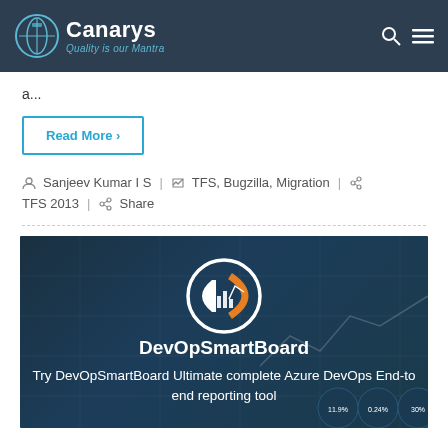Canarys — Quality is our Mantra
a...
Read More >
Sanjeev Kumar I S | TFS, Bugzilla, Migration | TFS 2013 | Share
[Figure (logo): DevOpSmartBoard logo with orange and white circular icon and white 'DevOpSmartBoard' text on dark blue background. Caption: Try DevOpSmartBoard Ultimate complete Azure DevOps End-to end reporting tool]